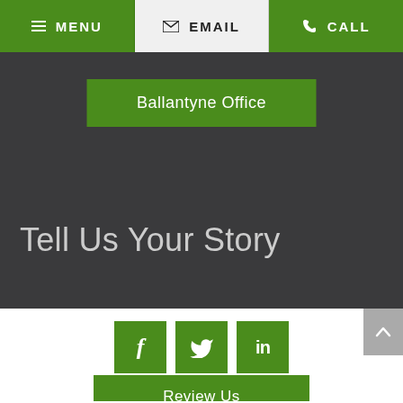MENU | EMAIL | CALL
Ballantyne Office
Tell Us Your Story
[Figure (illustration): Social media icons: Facebook (f), Twitter (bird), LinkedIn (in) in green square buttons]
Review Us
Home | Disclaimer | Privacy Policy | Site Map |